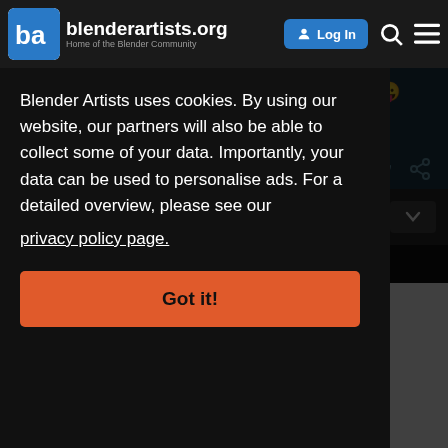blenderartists.org — Home of the Blender Community
months from my time, but I think its better this way. 😛
Peace and out. 😉
Blender Artists uses cookies. By using our website, our partners will also be able to collect some of your data. Importantly, your data can be used to personalise ads. For a detailed overview, please see our privacy policy page.
Got it!